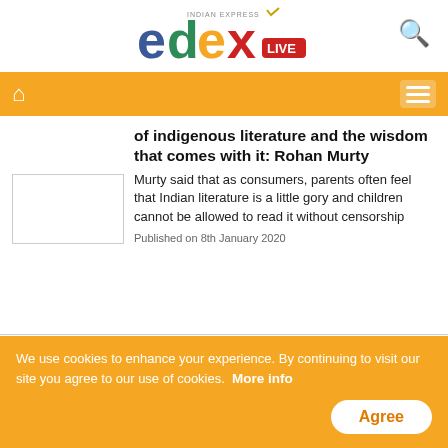[Figure (logo): EdexLive logo (Indian Express) with colorful letters e, d, e, x and LIVE badge]
[Figure (screenshot): Navigation bar with home icon and hamburger menu on orange background]
of indigenous literature and the wisdom that comes with it: Rohan Murty
Murty said that as consumers, parents often feel that Indian literature is a little gory and children cannot be allowed to read it without censorship
Published on 8th January 2020
Fiction should be also driven by some amount of reality: Bilal Siddiqi on Bard of Blood
Bilal Siddiqi, the young star writer of the Netflix web series Bard of Blood, tells us that
We use cookies to enhance your experience. By continuing to visit our site you agree to our use of cookies.  More info